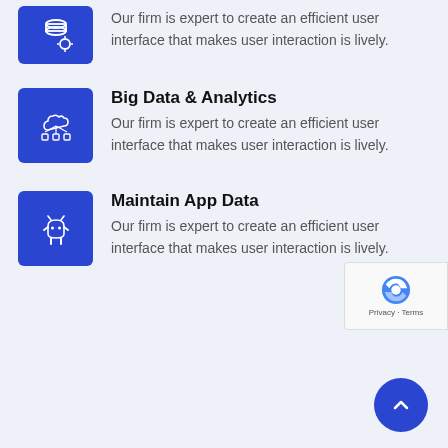[Figure (illustration): Blue square icon with a database/settings symbol in white (partially visible at top)]
Our firm is expert to create an efficient user interface that makes user interaction is lively.
[Figure (illustration): Blue square icon with a network/cloud data diagram in white]
Big Data & Analytics
Our firm is expert to create an efficient user interface that makes user interaction is lively.
[Figure (illustration): Blue square icon with an Android robot icon in white]
Maintain App Data
Our firm is expert to create an efficient user interface that makes user interaction is lively.